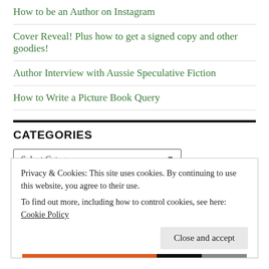How to be an Author on Instagram
Cover Reveal! Plus how to get a signed copy and other goodies!
Author Interview with Aussie Speculative Fiction
How to Write a Picture Book Query
CATEGORIES
Select Category
Privacy & Cookies: This site uses cookies. By continuing to use this website, you agree to their use.
To find out more, including how to control cookies, see here: Cookie Policy
Close and accept